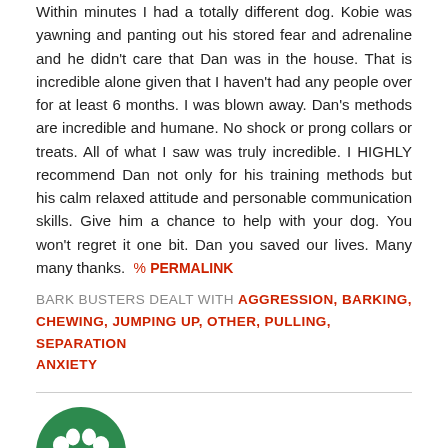Within minutes I had a totally different dog. Kobie was yawning and panting out his stored fear and adrenaline and he didn't care that Dan was in the house. That is incredible alone given that I haven't had any people over for at least 6 months. I was blown away. Dan's methods are incredible and humane. No shock or prong collars or treats. All of what I saw was truly incredible. I HIGHLY recommend Dan not only for his training methods but his calm relaxed attitude and personable communication skills. Give him a chance to help with your dog. You won't regret it one bit. Dan you saved our lives. Many many thanks. % PERMALINK
BARK BUSTERS DEALT WITH AGGRESSION, BARKING, CHEWING, JUMPING UP, OTHER, PULLING, SEPARATION ANXIETY
[Figure (logo): Bark Busters green circular logo with white paw print icon]
SAM C
DENVER, COLORADO